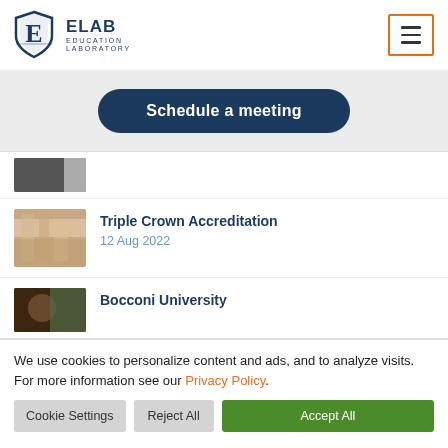[Figure (logo): ELAB Education Laboratory shield logo with E initial and text]
[Figure (screenshot): Navigation hamburger menu button with orange border]
Schedule a meeting
[Figure (photo): Partially visible thumbnail image at top of list]
Triple Crown Accreditation
12 Aug 2022
Bocconi University
We use cookies to personalize content and ads, and to analyze visits. For more information see our Privacy Policy.
Cookie Settings   Reject All   Accept All